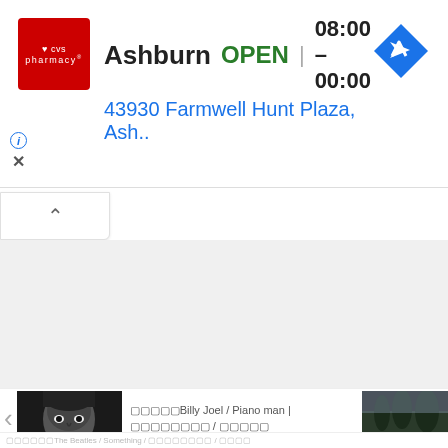[Figure (screenshot): CVS Pharmacy logo - red square with white heart and CVS text]
Ashburn  OPEN  08:00 – 00:00
43930 Farmwell Hunt Plaza, Ash..
[Figure (other): Blue navigation turn-by-turn arrow diamond icon]
ⓘ
✕
∧
[Figure (photo): Black and white close-up portrait photo of Billy Joel]
□□□□□Billy Joel / Piano man | □□□□□□□□ / □□□□□
[Figure (photo): Partial dark outdoor photo (trees/landscape)]
□□□□□□The Beatles / Something / □□□□□□□□ / □□□□